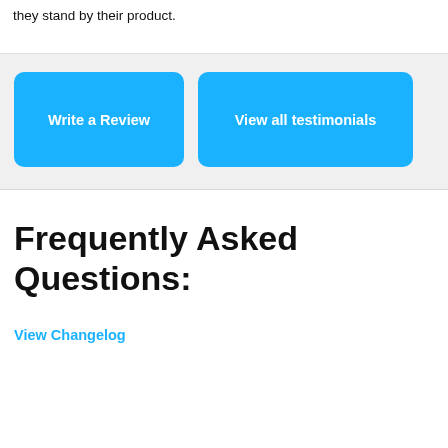they stand by their product.
Write a Review
View all testimonials
Frequently Asked Questions:
View Changelog